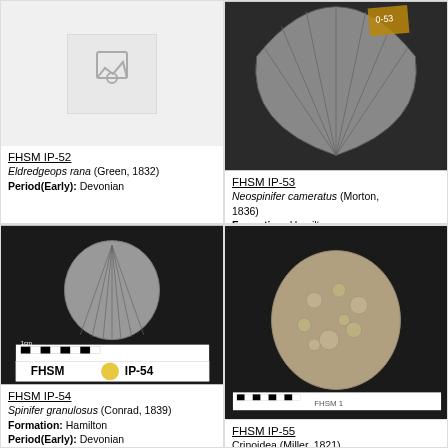[Figure (photo): Placeholder image box for FHSM IP-52 specimen]
FHSM IP-52
Eldredgeops rana (Green, 1832)
Period(Early): Devonian
[Figure (photo): Photo of Neospinifer cameratus fossil specimen on black background with label 0-53]
FHSM IP-53
Neospinifer cameratus (Morton, 1836)
Formation: Hamilton
Period(Early): Devonian
[Figure (photo): Photo of Spinifer granulosus fossil on black background with FHSM scale ruler and label IP-54]
FHSM IP-54
Spinifer granulosus (Conrad, 1839)
Formation: Hamilton
Period(Early): Devonian
[Figure (photo): Photo of Crinoidea fossil specimen on black background with FHSM scale ruler]
FHSM IP-55
Crinoidea (Miller, 1821)
Formation: Hamilton